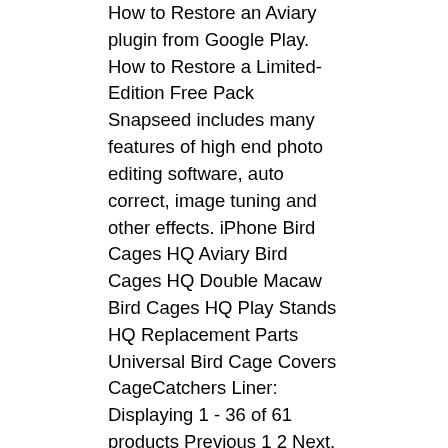How to Restore an Aviary plugin from Google Play. How to Restore a Limited-Edition Free Pack Snapseed includes many features of high end photo editing software, auto correct, image tuning and other effects. iPhone Bird Cages HQ Aviary Bird Cages HQ Double Macaw Bird Cages HQ Play Stands HQ Replacement Parts Universal Bird Cage Covers CageCatchers Liner: Displaying 1 - 36 of 61 products Previous 1 2 Next. We are grateful and proud to have been able to provide such an outlet of creativity for users of all ages and experience for all these years. At all times you can easily navigate between images you're working via arrow keys, quickly compare images before and after making edits with \, or see side by side comparisons with y. Pixelmator is a powerful, beautiful, and easy to use image editor. With the acquisition of Snapseed by Google, the app was lowered in price from $4.99 to free. How to play My Aviary: Tap To Grow: • Tap the screen to gain vitality. ... After changing the look of your pictures, you can send them in messages or